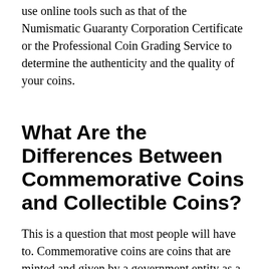use online tools such as that of the Numismatic Guaranty Corporation Certificate or the Professional Coin Grading Service to determine the authenticity and the quality of your coins.
What Are the Differences Between Commemorative Coins and Collectible Coins?
This is a question that most people will have to. Commemorative coins are coins that are minted and given by a government entity as a token of appreciation to an individual. They